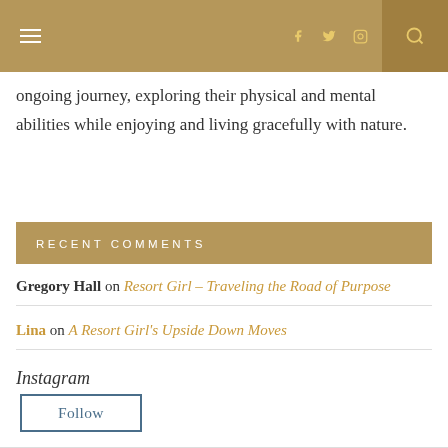Navigation bar with hamburger menu, social icons (Facebook, Twitter, Instagram), and search
ongoing journey, exploring their physical and mental abilities while enjoying and living gracefully with nature.
RECENT COMMENTS
Gregory Hall on Resort Girl – Traveling the Road of Purpose
Lina on A Resort Girl's Upside Down Moves
Instagram
Follow